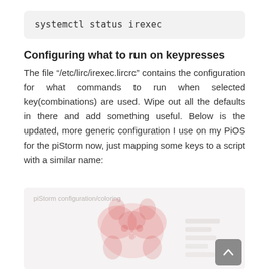systemctl status irexec
Configuring what to run on keypresses
The file “/etc/lirc/irexec.lircrc” contains the configuration for what commands to run when selected key(combinations) are used. Wipe out all the defaults in there and add something useful. Below is the updated, more generic configuration I use on my PiOS for the piStorm now, just mapping some keys to a script with a similar name:
[Figure (screenshot): Screenshot of a piStorm configuration file or related interface, partially visible with a Raspberry Pi logo watermark]